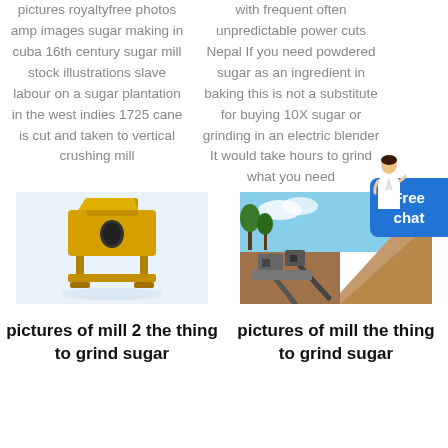pictures royaltyfree photos amp images sugar making in cuba 16th century sugar mill stock illustrations slave labour on a sugar plantation in the west indies 1725 cane is cut and taken to vertical crushing mill
with frequent often unpredictable power cuts Nepal If you need powdered sugar as an ingredient in baking this is not a substitute for buying 10X sugar or grinding in an electric blender It would take hours to grind what you need
[Figure (photo): Yellow industrial sugar grinding mill machine on white background]
[Figure (photo): Outdoor mining/milling site with conveyor belts and machinery on a hillside]
pictures of mill 2 the thing to grind sugar
pictures of mill the thing to grind sugar